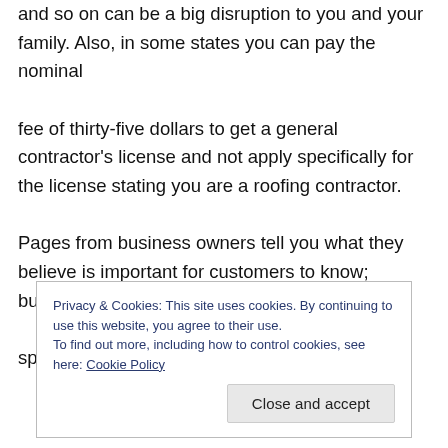and so on can be a big disruption to you and your family. Also, in some states you can pay the nominal fee of thirty-five dollars to get a general contractor's license and not apply specifically for the license stating you are a roofing contractor. Pages from business owners tell you what they believe is important for customers to know; business philosophy, specialties, licenses, qualifications, information
Privacy & Cookies: This site uses cookies. By continuing to use this website, you agree to their use. To find out more, including how to control cookies, see here: Cookie Policy